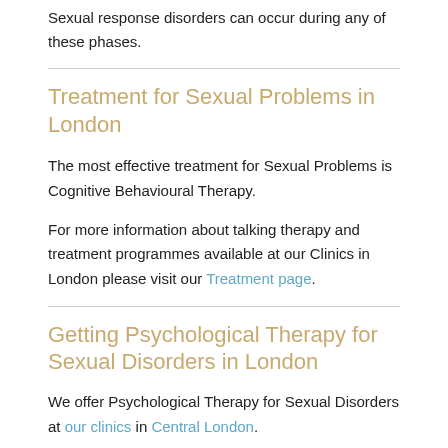Sexual response disorders can occur during any of these phases.
Treatment for Sexual Problems in London
The most effective treatment for Sexual Problems is Cognitive Behavioural Therapy.
For more information about talking therapy and treatment programmes available at our Clinics in London please visit our Treatment page.
Getting Psychological Therapy for Sexual Disorders in London
We offer Psychological Therapy for Sexual Disorders at our clinics in Central London.